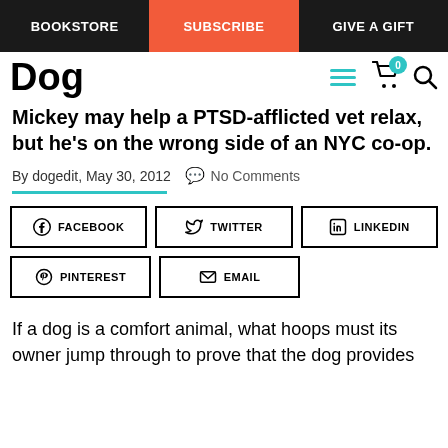BOOKSTORE | SUBSCRIBE | GIVE A GIFT
Dog
Mickey may help a PTSD-afflicted vet relax, but he's on the wrong side of an NYC co-op.
By dogedit, May 30, 2012  No Comments
[Figure (other): Social share buttons: Facebook, Twitter, LinkedIn, Pinterest, Email]
If a dog is a comfort animal, what hoops must its owner jump through to prove that the dog provides